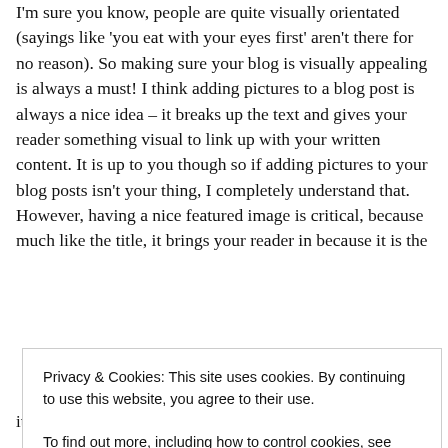I'm sure you know, people are quite visually orientated (sayings like 'you eat with your eyes first' aren't there for no reason). So making sure your blog is visually appealing is always a must! I think adding pictures to a blog post is always a nice idea – it breaks up the text and gives your reader something visual to link up with your written content. It is up to you though so if adding pictures to your blog posts isn't your thing, I completely understand that. However, having a nice featured image is critical, because much like the title, it brings your reader in because it is the
Privacy & Cookies: This site uses cookies. By continuing to use this website, you agree to their use.
To find out more, including how to control cookies, see here:
Cookie Policy
CLOSE AND ACCEPT
it pretty stage are just as important as proofreading, so